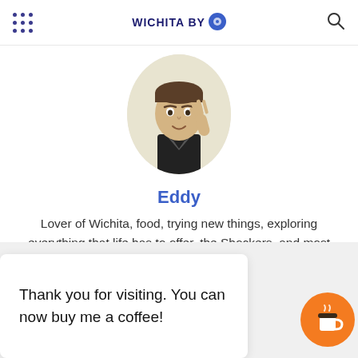WICHITA BY [logo]
[Figure (illustration): Cartoon bitmoji avatar of a man in a black jacket waving]
Eddy
Lover of Wichita, food, trying new things, exploring everything that life has to offer, the Shockers, and most of all my family.
Thank you for visiting. You can now buy me a coffee!
[Figure (illustration): Orange circular coffee cup button/widget]